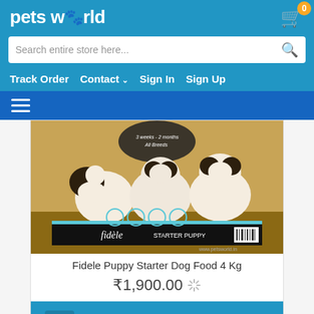petsworld
Search entire store here...
Track Order   Contact   Sign In   Sign Up
[Figure (screenshot): Hamburger menu icon (three horizontal lines) on dark blue background]
[Figure (photo): Product image of Fidele Starter Puppy dog food bag showing three puppies and brand label]
Fidele Puppy Starter Dog Food 4 Kg
₹1,900.00
VIEW DETAIL